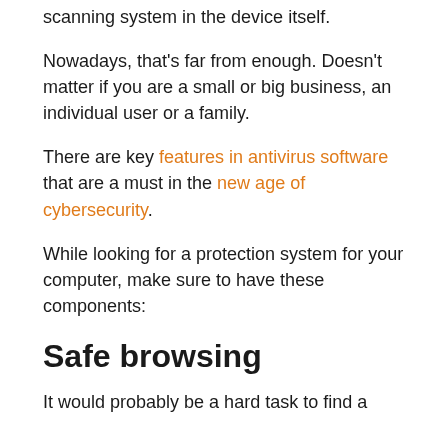scanning system in the device itself.
Nowadays, that's far from enough. Doesn't matter if you are a small or big business, an individual user or a family.
There are key features in antivirus software that are a must in the new age of cybersecurity.
While looking for a protection system for your computer, make sure to have these components:
Safe browsing
It would probably be a hard task to find a